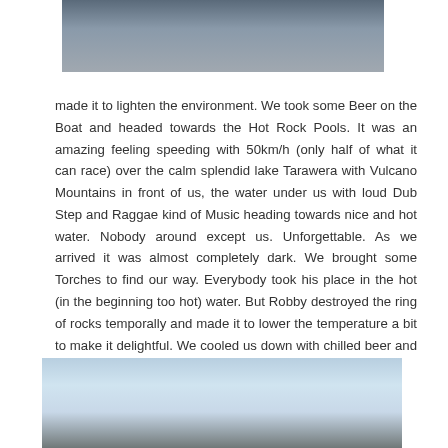[Figure (photo): Top portion of a photo, cropped, showing people on a boat or similar outdoor scene]
made it to lighten the environment. We took some Beer on the Boat and headed towards the Hot Rock Pools. It was an amazing feeling speeding with 50km/h (only half of what it can race) over the calm splendid lake Tarawera with Vulcano Mountains in front of us, the water under us with loud Dub Step and Raggae kind of Music heading towards nice and hot water. Nobody around except us. Unforgettable. As we arrived it was almost completely dark. We brought some Torches to find our way. Everybody took his place in the hot (in the beginning too hot) water. But Robby destroyed the ring of rocks temporally and made it to lower the temperature a bit to make it delightful. We cooled us down with chilled beer and enjoyed the night. Jordan had a pretty good
[Figure (photo): Bottom portion of a landscape photo showing sky with clouds and mountains or hills below]